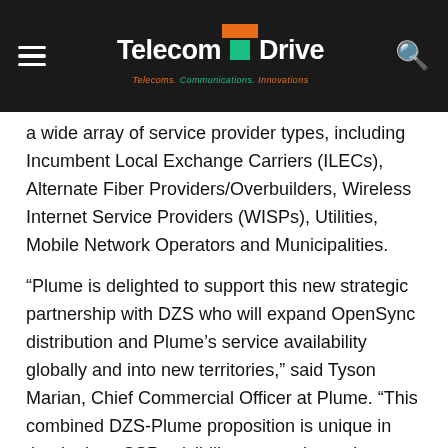Telecom Drive — Telecoms. Communications. Innovations.
a wide array of service provider types, including Incumbent Local Exchange Carriers (ILECs), Alternate Fiber Providers/Overbuilders, Wireless Internet Service Providers (WISPs), Utilities, Mobile Network Operators and Municipalities.
“Plume is delighted to support this new strategic partnership with DZS who will expand OpenSync distribution and Plume’s service availability globally and into new territories,” said Tyson Marian, Chief Commercial Officer at Plume. “This combined DZS-Plume proposition is unique in that it gives CSPs visibility across the entire broadband subscriber journey across the network and down to the last few millimeters in the home where the customer expects a flawless wireless experience and new digital smart home